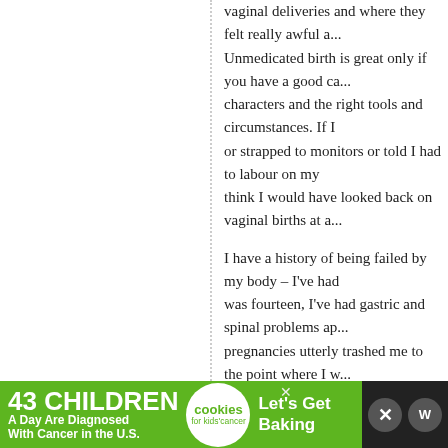vaginal deliveries and where they felt really awful and... Unmedicated birth is great only if you have a good cast of characters and the right tools and circumstances. If I had been or strapped to monitors or told I had to labour on my back, I think I would have looked back on vaginal births at all.
I have a history of being failed by my body – I've had ... was fourteen, I've had gastric and spinal problems ap... pregnancies utterly trashed me to the point where I w... or work – so it felt amazing to know that my body could do other than find new and ever more painful and degrading ways to malfunction.
Anyway. Take all this with a grain of salt as just one perspective. There are many ways to find healing and a number of them involve very good drugs.
> Reply
Christina Cox says: JULY 14TH, 2011 AT 3:53 PM
[Figure (other): Advertisement banner: '43 Children A Day Are Diagnosed With Cancer in the U.S.' with cookies for kids cancer logo and Let's Get Baking text]